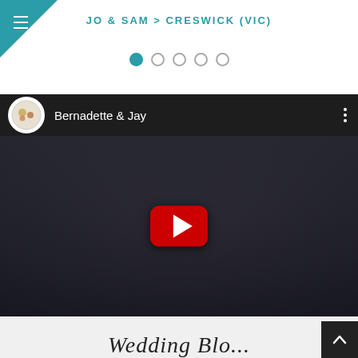JO & SAM > CRESWICK (VIC)
[Figure (screenshot): YouTube video thumbnail showing a couple (Bernadette & Jay) about to kiss, with a YouTube play button overlay and channel header showing circular logo and channel name 'Bernadette & Jay']
Wedding Blog...